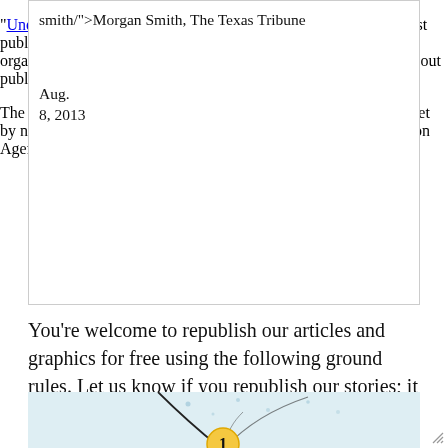smith/">Morgan Smith</a>, The Texas Tribune</p>
<p><time datetime="2013-08-08T13:51:54-0500">Aug. 8, 2013</time></p>
</div>
<p>"<a href="https://www.texastribune.org/2013/08/08/under-new-texas-ratings-most-schools-met-standard/">Under New State Ratings, Most Schools Met Standards</a>" was first published by The Texas Tribune, a nonprofit, nonpartisan media organization that informs Texans — and engages with them — about public policy, politics, government and statewide issues.</p>
<p>The vast majority of the state's public schools met the standards <span>set by new state accountability ratings debuted by the Texas Education Agency on Thursday. </span></p>
You're welcome to republish our articles and graphics for free using the following ground rules. Let us know if you republish our stories; it makes us happy!
[Figure (infographic): Light blue infographic panel with dots and a circular node labeled '1' with lines radiating from it, partially visible at bottom of page.]